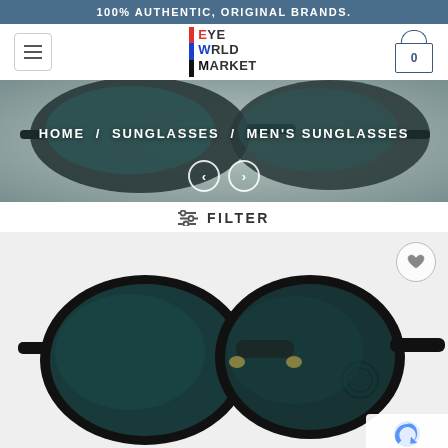100% AUTHENTIC, ORIGINAL BRANDS.
[Figure (logo): Eye World Market logo with colored vertical bar and stacked text EYE / WORLD / MARKET]
[Figure (screenshot): Hero banner showing round sunglasses photographed from behind, with breadcrumb navigation HOME / SUNGLASSES / MEN'S SUNGLASSES and left/right navigation arrows]
HOME / SUNGLASSES / MEN'S SUNGLASSES
FILTER
[Figure (photo): Product photo of black round metal frame sunglasses photographed from the back showing teal/dark green lenses with branded temple tips, on white background. Heart/wishlist icon in top right. reCAPTCHA badge bottom right.]